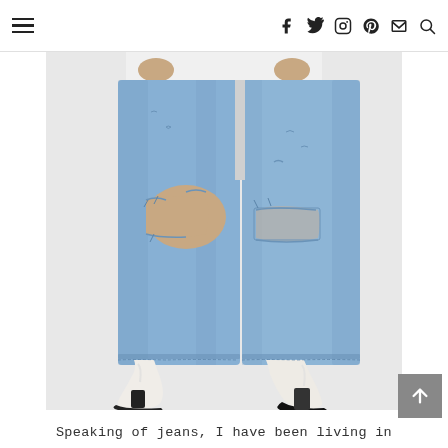Navigation header with hamburger menu and social icons: Facebook, Twitter, Instagram, Pinterest, Email, Search
[Figure (photo): Person wearing light blue distressed/ripped jeans with large knee cutouts and white pointed-toe cowboy boots with black heels, shown from waist down against white background]
Speaking of jeans, I have been living in